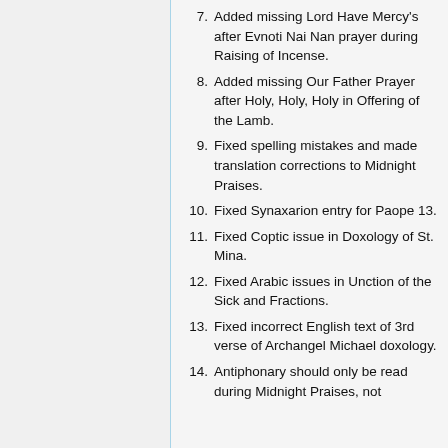7. Added missing Lord Have Mercy's after Evnoti Nai Nan prayer during Raising of Incense.
8. Added missing Our Father Prayer after Holy, Holy, Holy in Offering of the Lamb.
9. Fixed spelling mistakes and made translation corrections to Midnight Praises.
10. Fixed Synaxarion entry for Paope 13.
11. Fixed Coptic issue in Doxology of St. Mina.
12. Fixed Arabic issues in Unction of the Sick and Fractions.
13. Fixed incorrect English text of 3rd verse of Archangel Michael doxology.
14. Antiphonary should only be read during Midnight Praises, not